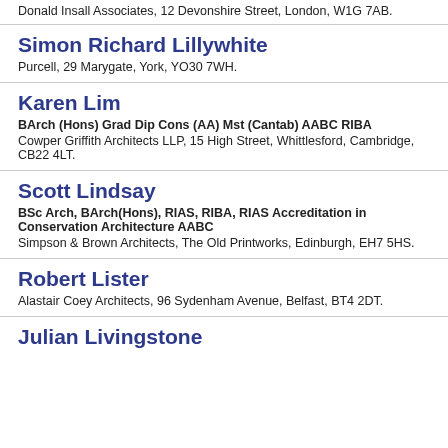Donald Insall Associates, 12 Devonshire Street, London, W1G 7AB.
Simon Richard Lillywhite
Purcell, 29 Marygate, York, YO30 7WH.
Karen Lim
BArch (Hons) Grad Dip Cons (AA) Mst (Cantab) AABC RIBA
Cowper Griffith Architects LLP, 15 High Street, Whittlesford, Cambridge, CB22 4LT.
Scott Lindsay
BSc Arch, BArch(Hons), RIAS, RIBA, RIAS Accreditation in Conservation Architecture AABC
Simpson & Brown Architects, The Old Printworks, Edinburgh, EH7 5HS.
Robert Lister
Alastair Coey Architects, 96 Sydenham Avenue, Belfast, BT4 2DT.
Julian Livingstone